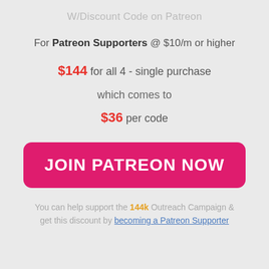W/Discount Code on Patreon
For Patreon Supporters @ $10/m or higher
$144 for all 4 - single purchase
which comes to
$36 per code
JOIN PATREON NOW
You can help support the 144k Outreach Campaign & get this discount by becoming a Patreon Supporter